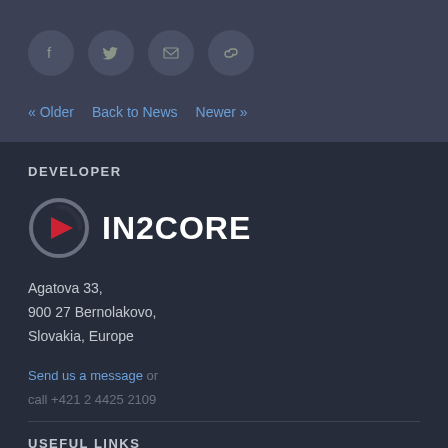[Figure (infographic): Four social share icon circles: Facebook, Twitter, Email, Link]
« Older   Back to News   Newer »
DEVELOPER
[Figure (logo): IN2CORE logo with circular play button icon (grey circle with red triangle arrow) and white text 'IN2CORE']
Agatova 33,
900 27 Bernolakovo,
Slovakia, Europe
Send us a message or
call +421 2 4425 2109
USEFUL LINKS